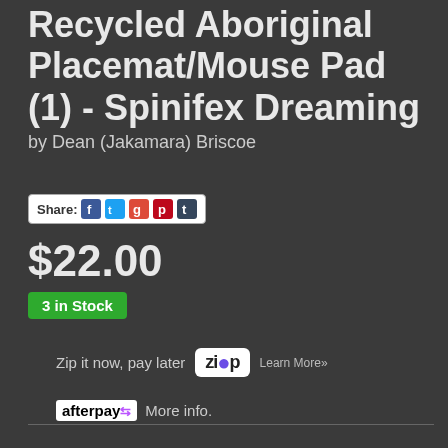Recycled Aboriginal Placemat/Mouse Pad (1) - Spinifex Dreaming
by Dean (Jakamara) Briscoe
[Figure (other): Share buttons row with social media icons: Facebook, Twitter, Google+, Pinterest, Tumblr]
$22.00
3 in Stock
Zip it now, pay later [Zip logo] Learn More»
[Figure (logo): Afterpay logo with recycling arrows]
More info.
Make 4 interest-free payments of $5.50 fortnightly and receive your order now.